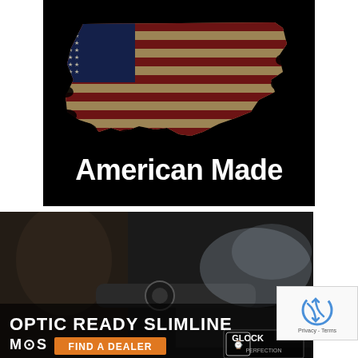[Figure (illustration): Black background image showing the outline of the contiguous United States filled with a distressed American flag design (stars and red/white/gold stripes). Below the map shape, bold white text reads 'American Made'.]
[Figure (photo): Advertisement banner showing a close-up of a person aiming a scoped rifle, with smoke in the background. Text overlay reads 'OPTIC READY SLIMLINE' and 'MOS FIND A DEALER'. Glock logo with 'PERFECTION' text in lower right.]